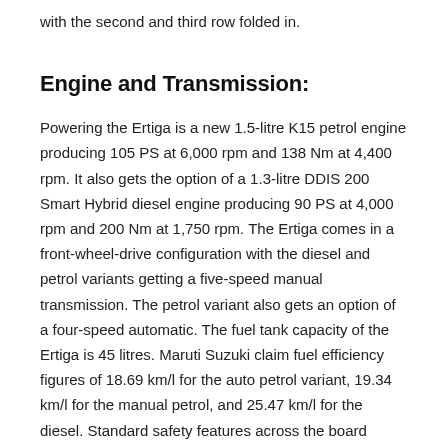with the second and third row folded in.
Engine and Transmission:
Powering the Ertiga is a new 1.5-litre K15 petrol engine producing 105 PS at 6,000 rpm and 138 Nm at 4,400 rpm. It also gets the option of a 1.3-litre DDIS 200 Smart Hybrid diesel engine producing 90 PS at 4,000 rpm and 200 Nm at 1,750 rpm. The Ertiga comes in a front-wheel-drive configuration with the diesel and petrol variants getting a five-speed manual transmission. The petrol variant also gets an option of a four-speed automatic. The fuel tank capacity of the Ertiga is 45 litres. Maruti Suzuki claim fuel efficiency figures of 18.69 km/l for the auto petrol variant, 19.34 km/l for the manual petrol, and 25.47 km/l for the diesel. Standard safety features across the board include dual-front airbags, ABS with EBD and brake assist, ISOFIX child seat anchorages, and reverse parking sensors.